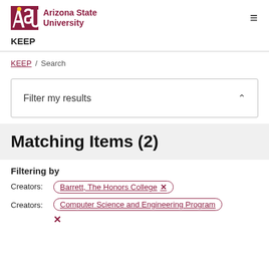ASU Arizona State University  KEEP
KEEP / Search
Filter my results
Matching Items (2)
Filtering by
Creators: Barrett, The Honors College ×
Creators: Computer Science and Engineering Program ×